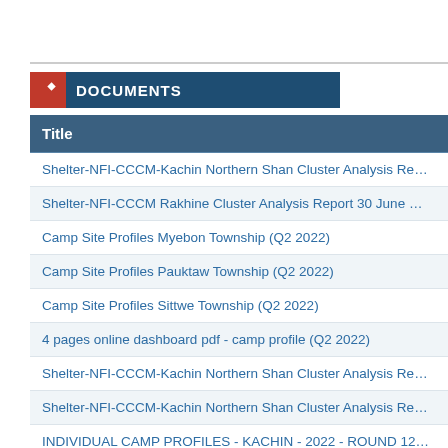DOCUMENTS
| Title |
| --- |
| Shelter-NFI-CCCM-Kachin Northern Shan Cluster Analysis Re… |
| Shelter-NFI-CCCM Rakhine Cluster Analysis Report 30 June … |
| Camp Site Profiles Myebon Township (Q2 2022) |
| Camp Site Profiles Pauktaw Township (Q2 2022) |
| Camp Site Profiles Sittwe Township (Q2 2022) |
| 4 pages online dashboard pdf - camp profile (Q2 2022) |
| Shelter-NFI-CCCM-Kachin Northern Shan Cluster Analysis Re… |
| Shelter-NFI-CCCM-Kachin Northern Shan Cluster Analysis Re… |
| INDIVIDUAL CAMP PROFILES - KACHIN - 2022 - ROUND 12… |
| INDIVIDUAL CAMP PROFILES - NORTHERN SHAN - 2022 -… |
| Place of Origin map by Township (Camp Profile - Round 12) |